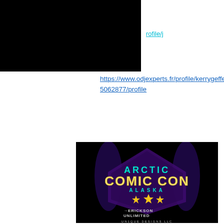rofile/j
https://www.odjexperts.fr/profile/kerrygeffers15062877/profile
[Figure (logo): Arctic Comic Con Alaska logo with Erickson Unlimited and Un1que Designs LLC logos on black background]